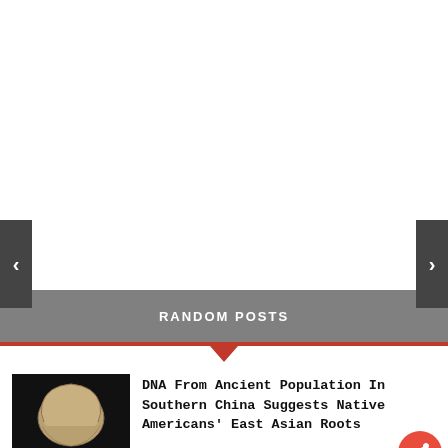[Figure (other): Slider/carousel area — blank white space with left and right navigation arrows on dark grey buttons]
RANDOM POSTS
[Figure (photo): Thumbnail photo of an ancient skull/bone fragment on a black background with a white scale bar]
DNA From Ancient Population In Southern China Suggests Native Americans' East Asian Roots
2 Comments